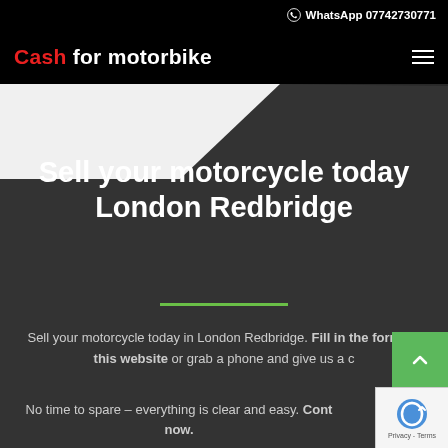WhatsApp 07742730771
Cash for motorbike
[Figure (screenshot): Diagonal white/grey angular shape decorating the top of the hero section]
Sell your motorcycle today London Redbridge
Sell your motorcycle today in London Redbridge. Fill in the form on this website or grab a phone and give us a c
No time to spare – everything is clear and easy. Cont now.